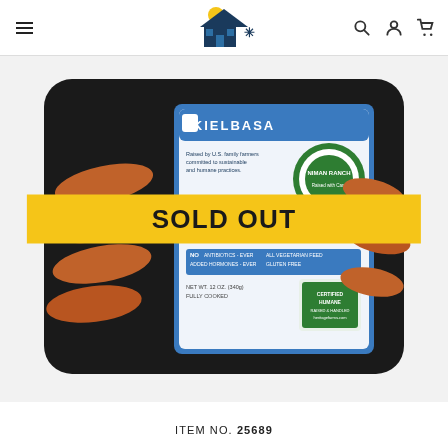Navigation header with hamburger menu, logo (house with sun), search, account, and cart icons
[Figure (photo): Package of Niman Ranch Kielbasa smoked sausage in black packaging with blue/white label, showing 4 links of sausage. A yellow 'SOLD OUT' banner overlays the center of the image.]
ITEM NO. 25689